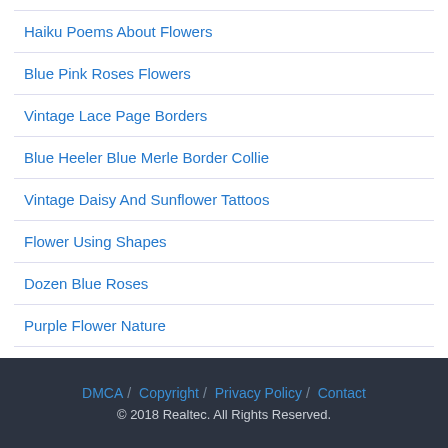Haiku Poems About Flowers
Blue Pink Roses Flowers
Vintage Lace Page Borders
Blue Heeler Blue Merle Border Collie
Vintage Daisy And Sunflower Tattoos
Flower Using Shapes
Dozen Blue Roses
Purple Flower Nature
Bracelet Flower Drawing For Tattoos
DMCA / Copyright / Privacy Policy / Contact
© 2018 Realtec. All Rights Reserved.